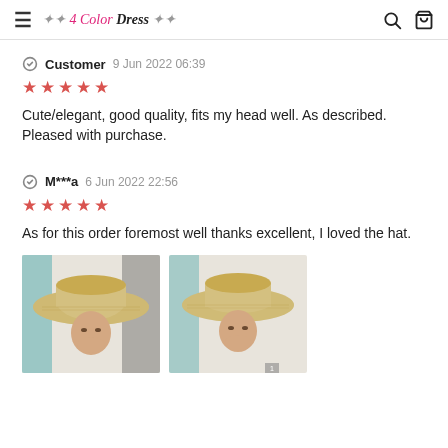≡  4 Color Dress  🔍  🛒
Customer  9 Jun 2022 06:39
★★★★★
Cute/elegant, good quality, fits my head well. As described. Pleased with purchase.
M***a  6 Jun 2022 22:56
★★★★★
As for this order foremost well thanks excellent, I loved the hat.
[Figure (photo): Two photos of a woman wearing a wide-brim straw hat, side by side.]